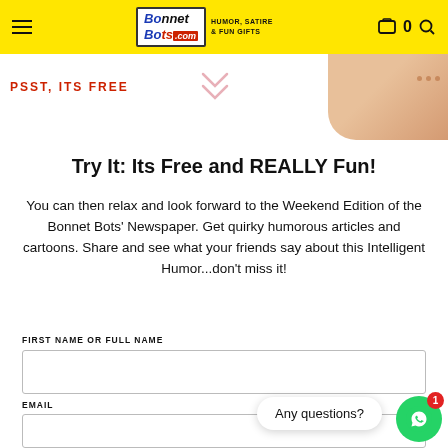BonnetBots.com — HUMOR, SATIRE & FUN GIFTS
PSST, ITS FREE
Try It: Its Free and REALLY Fun!
You can then relax and look forward to the Weekend Edition of the Bonnet Bots' Newspaper. Get quirky humorous articles and cartoons. Share and see what your friends say about this Intelligent Humor...don't miss it!
FIRST NAME OR FULL NAME
EMAIL
Any questions?